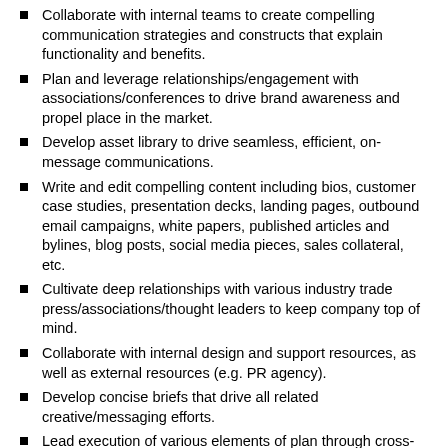Collaborate with internal teams to create compelling communication strategies and constructs that explain functionality and benefits.
Plan and leverage relationships/engagement with associations/conferences to drive brand awareness and propel place in the market.
Develop asset library to drive seamless, efficient, on-message communications.
Write and edit compelling content including bios, customer case studies, presentation decks, landing pages, outbound email campaigns, white papers, published articles and bylines, blog posts, social media pieces, sales collateral, etc.
Cultivate deep relationships with various industry trade press/associations/thought leaders to keep company top of mind.
Collaborate with internal design and support resources, as well as external resources (e.g. PR agency).
Develop concise briefs that drive all related creative/messaging efforts.
Lead execution of various elements of plan through cross-functional teams; ensure program deliverables are executed across multiple communication channels.
Assist in development of all multi-media, PowerPoint, video